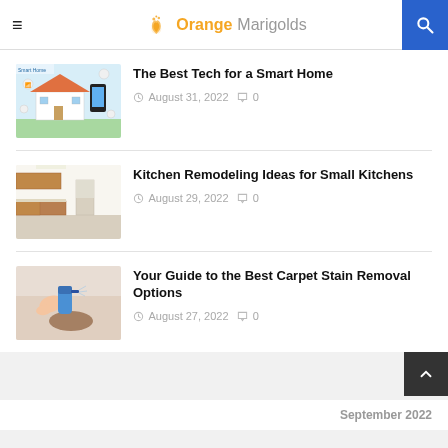Orange Marigolds
[Figure (photo): Smart home illustration showing a house cross-section with connected device icons and a smartphone]
The Best Tech for a Smart Home
August 31, 2022   0
[Figure (photo): Kitchen remodeling photo showing a small white kitchen with wooden cabinets under renovation]
Kitchen Remodeling Ideas for Small Kitchens
August 29, 2022   0
[Figure (photo): Hands using a blue spray bottle to clean a carpet stain]
Your Guide to the Best Carpet Stain Removal Options
August 27, 2022   0
September 2022